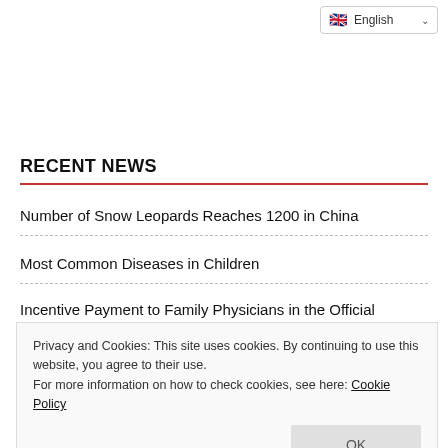English
RECENT NEWS
Number of Snow Leopards Reaches 1200 in China
Most Common Diseases in Children
Incentive Payment to Family Physicians in the Official Gazette
Privacy and Cookies: This site uses cookies. By continuing to use this website, you agree to their use.
For more information on how to check cookies, see here: Cookie Policy
The Climbing in Motor Insurance Prices Continues